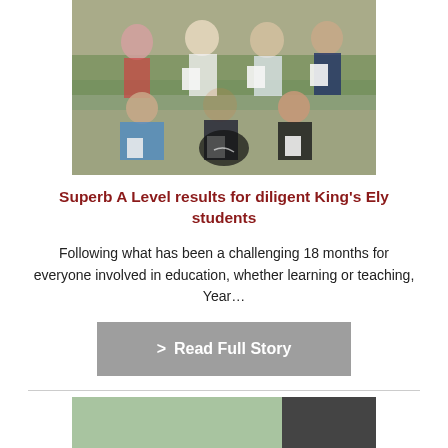[Figure (photo): Group photo of approximately 7 students holding papers/results, seated and standing outdoors in front of a brick building with greenery]
Superb A Level results for diligent King’s Ely students
Following what has been a challenging 18 months for everyone involved in education, whether learning or teaching, Year…
> Read Full Story
[Figure (photo): Partial view of another photo below a horizontal divider line]